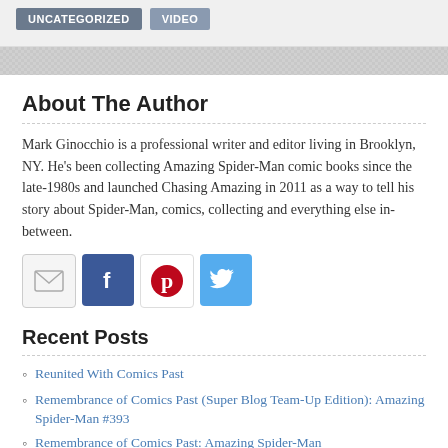UNCATEGORIZED  VIDEO
About The Author
Mark Ginocchio is a professional writer and editor living in Brooklyn, NY. He's been collecting Amazing Spider-Man comic books since the late-1980s and launched Chasing Amazing in 2011 as a way to tell his story about Spider-Man, comics, collecting and everything else in-between.
[Figure (other): Social media icons: email, Facebook, Pinterest, Twitter]
Recent Posts
Reunited With Comics Past
Remembrance of Comics Past (Super Blog Team-Up Edition): Amazing Spider-Man #393
Remembrance of Comics Past: Amazing Spider-Man